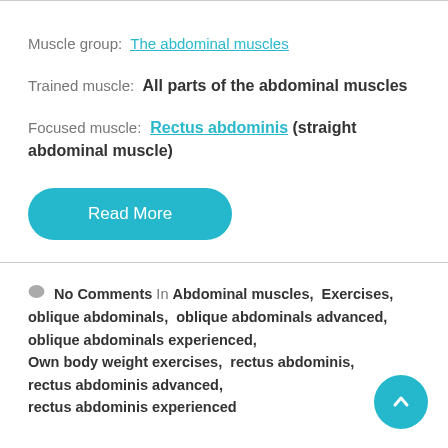Muscle group: The abdominal muscles
Trained muscle: All parts of the abdominal muscles
Focused muscle: Rectus abdominis (straight abdominal muscle)
Read More
No Comments  In Abdominal muscles,  Exercises,  oblique abdominals,  oblique abdominals advanced,  oblique abdominals experienced,  Own body weight exercises,  rectus abdominis,  rectus abdominis advanced,  rectus abdominis experienced